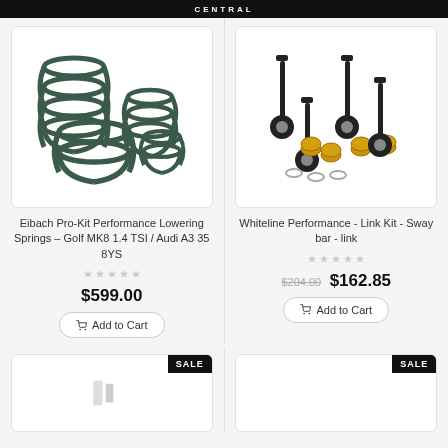CENTRAL
[Figure (photo): Eibach lowering springs - four coil springs in dark green/teal color]
Eibach Pro-Kit Performance Lowering Springs – Golf MK8 1.4 TSI / Audi A3 35 8YS
$599.00
Add to Cart
[Figure (photo): Whiteline sway bar link kit with two black link bars and gold/yellow bushings and washers]
Whiteline Performance - Link Kit - Sway bar - link
$204.00 $162.85
Add to Cart
[Figure (photo): Product image partially visible, SALE badge shown]
[Figure (photo): Product image partially visible, SALE badge shown]